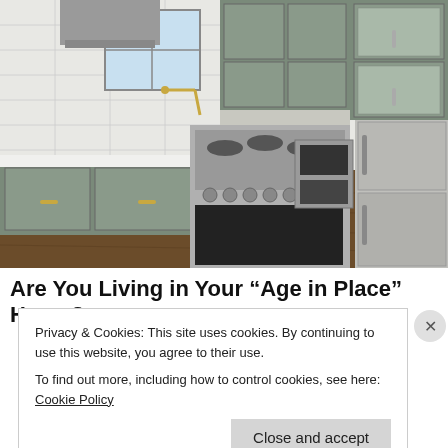[Figure (photo): Modern kitchen with gray shaker cabinets, white subway tile backsplash, stainless steel professional range with gas cooktop, stainless steel refrigerator, white quartz countertops, and hardwood floors. A brass pot filler is visible above the range. Upper glass-front cabinets are on the right side.]
Are You Living in Your “Age in Place” Home?
Privacy & Cookies: This site uses cookies. By continuing to use this website, you agree to their use.
To find out more, including how to control cookies, see here: Cookie Policy
Close and accept